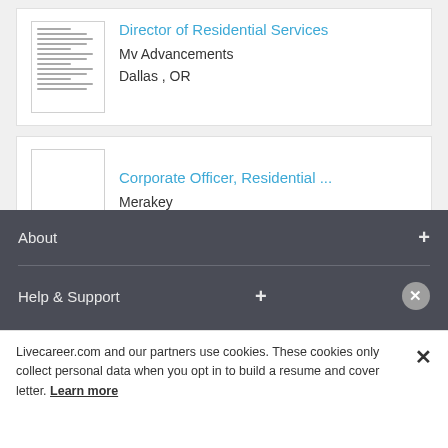[Figure (screenshot): Job listing card with resume thumbnail for Director of Residential Services at Mv Advancements, Dallas, OR]
[Figure (screenshot): Job listing card with empty thumbnail for Corporate Officer, Residential ... at Merakey, Lima, OH]
About +
Help & Support +
Livecareer.com and our partners use cookies. These cookies only collect personal data when you opt in to build a resume and cover letter. Learn more